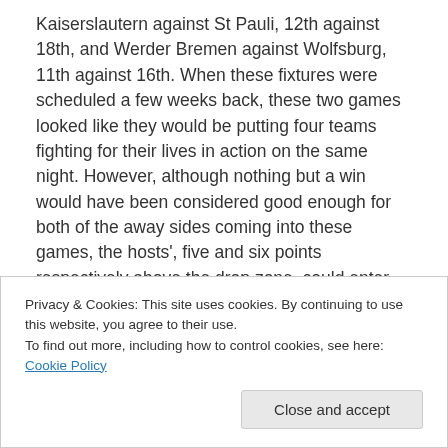Kaiserslautern against St Pauli, 12th against 18th, and Werder Bremen against Wolfsburg, 11th against 16th. When these fixtures were scheduled a few weeks back, these two games looked like they would be putting four teams fighting for their lives in action on the same night. However, although nothing but a win would have been considered good enough for both of the away sides coming into these games, the hosts', five and six points respectively above the drop zone, could enter their respective fixtures in a more relaxed state. Continue reading →
Privacy & Cookies: This site uses cookies. By continuing to use this website, you agree to their use.
To find out more, including how to control cookies, see here: Cookie Policy